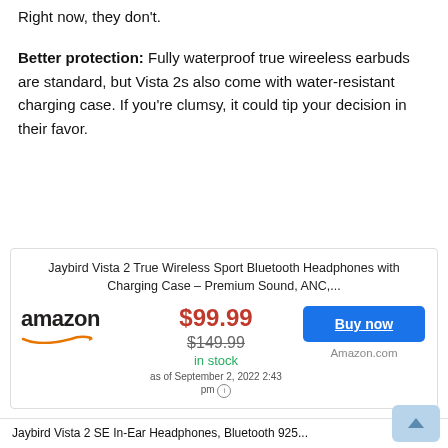Right now, they don't.
Better protection: Fully waterproof true wireeless earbuds are standard, but Vista 2s also come with water-resistant charging case. If you're clumsy, it could tip your decision in their favor.
Jaybird Vista 2 True Wireless Sport Bluetooth Headphones with Charging Case – Premium Sound, ANC,...
$99.99
$149.99
in stock
as of September 2, 2022 2:43 pm
Buy now
Amazon.com
Jaybird Vista 2 SE In-Ear Headphones, Bluetooth 925...